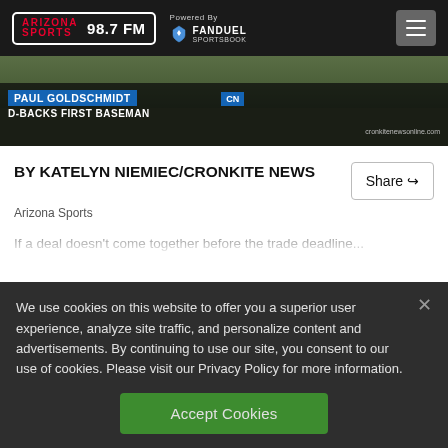Arizona Sports 98.7 FM | Powered By FanDuel Sportsbook
[Figure (screenshot): News video still showing Paul Goldschmidt, D-Backs First Baseman lower-third chyron with CN logo]
BY KATELYN NIEMIEC/CRONKITE NEWS
Arizona Sports
We use cookies on this website to offer you a superior user experience, analyze site traffic, and personalize content and advertisements. By continuing to use our site, you consent to our use of cookies. Please visit our Privacy Policy for more information.